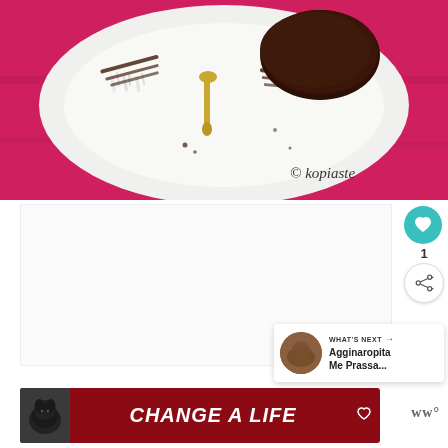[Figure (photo): A white angular plate on a red/pink tablecloth with a chocolate dessert or cake, cocoa powder sprinkled in lines, shredded coconut, and a gold spoon. Watermark reads '© kopiaste' in the bottom right corner.]
ADVERTISEMENT
[Figure (infographic): Sidebar UI with a teal heart/favorite button, the number 1 below it, and a share button (circle with share icon).]
[Figure (infographic): WHAT'S NEXT panel with a circular thumbnail image of a dish, label 'WHAT'S NEXT →' and text 'Agginaropita Me Prassa...']
[Figure (infographic): Advertisement banner with dark red background showing a black Labrador dog, bold white italic text 'CHANGE A LIFE', a close button (×), and a heart icon. Beside it: 'ww°' logo.]